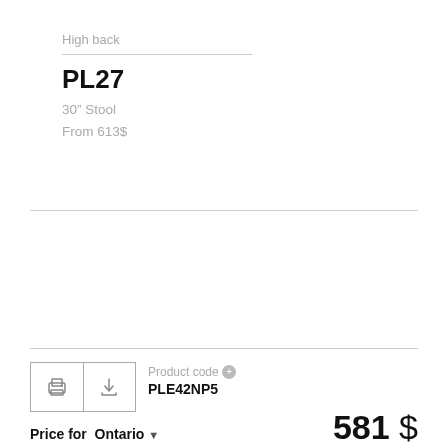High back
PL27
30" Stool
From 613$
Product code  PLE42NP5
Price for  Ontario  581 $